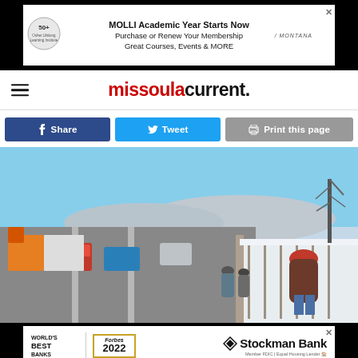[Figure (screenshot): Advertisement banner for MOLLI Academic Year at top of page. Black background with white content area. Circular 50+ logo on left, text 'MOLLI Academic Year Starts Now', 'Purchase or Renew Your Membership', 'Great Courses, Events & MORE', Montana logo on right.]
missoula current.
Share  Tweet  Print this page
[Figure (photo): Photo of people walking on a snowy bridge sidewalk alongside a busy highway with cars and trucks. Bare winter trees visible on the right. Blue sky. Taken in Missoula, Montana.]
[Figure (screenshot): Advertisement for Stockman Bank. Forbes World's Best Banks 2022 award badge on left, Stockman Bank logo on right with Member FDIC and Equal Housing Lender text.]